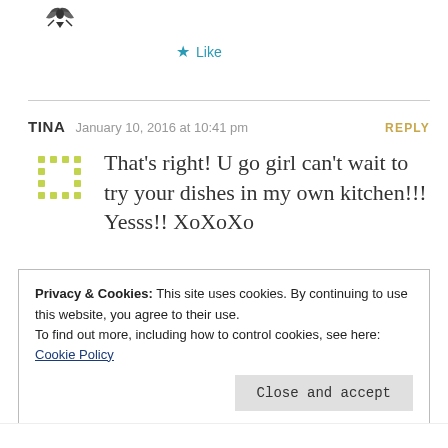[Figure (illustration): Decorative avatar/logo icon with leaf/wing motif in top left]
★ Like
TINA   January 10, 2016 at 10:41 pm   REPLY
[Figure (illustration): Dotted circle avatar placeholder in yellow-green dots]
That's right! U go girl can't wait to try your dishes in my own kitchen!!! Yesss!! XoXoXo
★ Like
Privacy & Cookies: This site uses cookies. By continuing to use this website, you agree to their use.
To find out more, including how to control cookies, see here: Cookie Policy
Close and accept